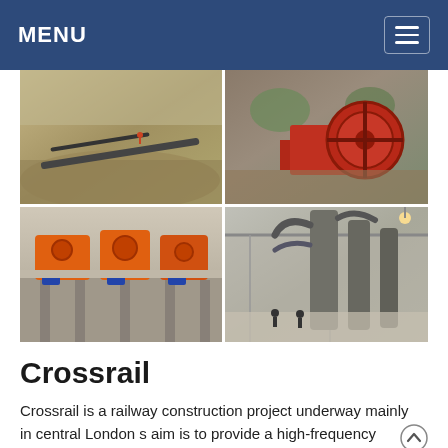MENU
[Figure (photo): Grid of four industrial/mining photos: top-left shows an open quarry with conveyor belt; top-right shows a red crusher flywheel and machinery; bottom-left shows orange impact crushers on a concrete platform; bottom-right shows an industrial vertical mill inside a warehouse.]
Crossrail
Crossrail is a railway construction project underway mainly in central London s aim is to provide a high-frequency suburban passenger service crossing the capital from west to east, by connecting two major railway lines terminating